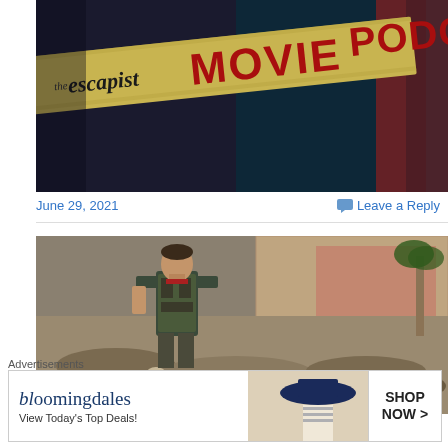[Figure (illustration): The Escapist Movie Podcast banner image with logo text on a torn tape strip over a dark background]
June 29, 2021
Leave a Reply
[Figure (photo): A muscular man in military tactical vest standing among debris in a post-apocalyptic scene]
Advertisements
[Figure (illustration): Bloomingdales advertisement banner: bloomingdales, View Today's Top Deals! SHOP NOW >]